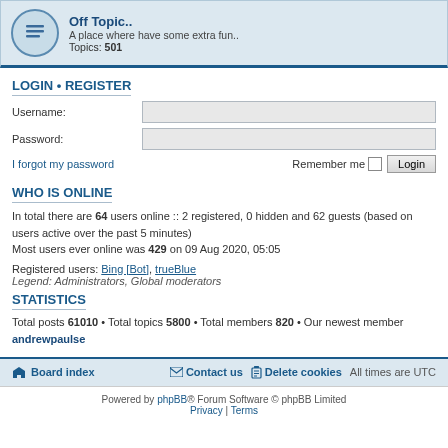Off Topic..
A place where have some extra fun.. Topics: 501
LOGIN • REGISTER
Username:
Password:
I forgot my password
Remember me
WHO IS ONLINE
In total there are 64 users online :: 2 registered, 0 hidden and 62 guests (based on users active over the past 5 minutes)
Most users ever online was 429 on 09 Aug 2020, 05:05
Registered users: Bing [Bot], trueBlue
Legend: Administrators, Global moderators
STATISTICS
Total posts 61010 • Total topics 5800 • Total members 820 • Our newest member andrewpaulse
Board index   Contact us   Delete cookies   All times are UTC
Powered by phpBB® Forum Software © phpBB Limited
Privacy | Terms